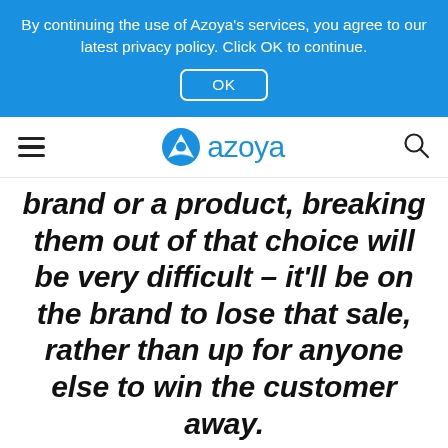By continuing the use of Azoya's services, you agree to our latest privacy policy. Click OK to continue.
OK
[Figure (logo): Azoya logo with blue triangular icon and the word 'azoya' in blue, flanked by hamburger menu icon on left and search icon on right]
brand or a product, breaking them out of that choice will be very difficult – it'll be on the brand to lose that sale, rather than up for anyone else to win the customer away.